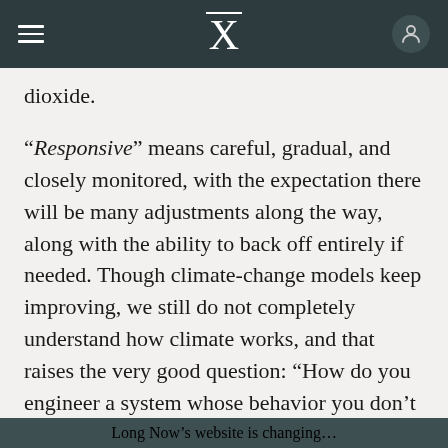X (Long Now logo)
dioxide.
“Responsive” means careful, gradual, and closely monitored, with the expectation there will be many adjustments along the way, along with the ability to back off entirely if needed. Though climate-change models keep improving, we still do not completely understand how climate works, and that raises the very good question: “How do you engineer a system whose behavior you don’t understand?” Keith’s answer is “feedback. We engineer and control many
Long Now’s website is changing…